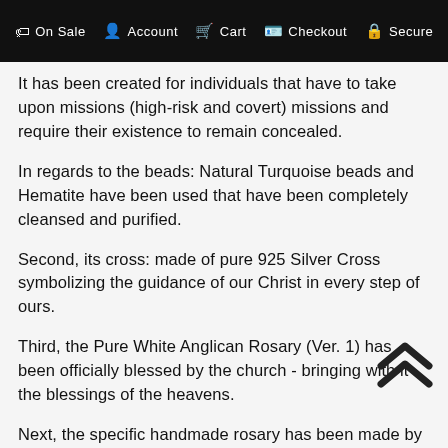On Sale  Account  Cart  Checkout  Secure
It has been created for individuals that have to take upon missions (high-risk and covert) missions and require their existence to remain concealed.
In regards to the beads: Natural Turquoise beads and Hematite have been used that have been completely cleansed and purified.
Second, its cross: made of pure 925 Silver Cross symbolizing the guidance of our Christ in every step of ours.
Third, the Pure White Anglican Rosary (Ver. 1) has been officially blessed by the church - bringing with it the blessings of the heavens.
Next, the specific handmade rosary has been made by experts and during its creation protective prayers were used for each bead and is